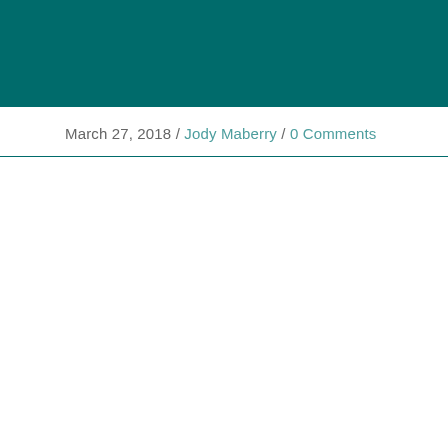March 27, 2018 / Jody Maberry / 0 Comments